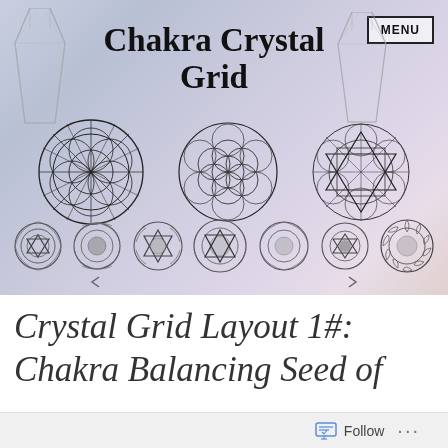Chakra Crystal Grid
[Figure (illustration): Website banner with soft purple-blue gradient background showing sacred geometry symbols: seed of life circle, flower of life circle, Metatron's cube on top row; seven chakra symbols on bottom row. Crystal illustrations on left and right sides. MENU button top right.]
Crystal Grid Layout 1#: Chakra Balancing Seed of
[Figure (other): Follow button widget with icon and ellipsis menu in gray bottom bar]